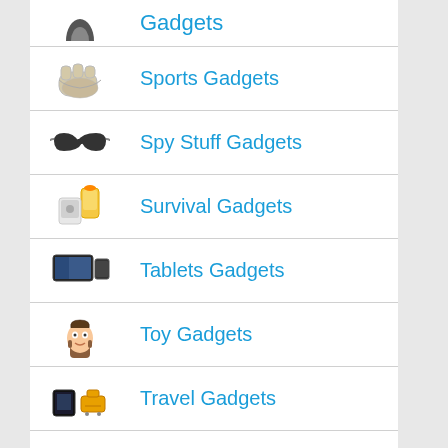Gadgets
Sports Gadgets
Spy Stuff Gadgets
Survival Gadgets
Tablets Gadgets
Toy Gadgets
Travel Gadgets
Vehicle Gadgets
Virtual Reality Gadgets
Wacky/Humor Gadgets